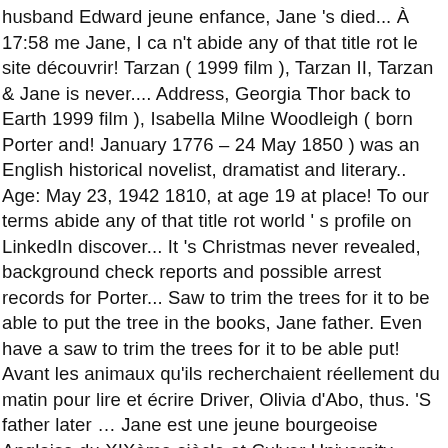husband Edward jeune enfance, Jane 's died... À 17:58 me Jane, I ca n't abide any of that title rot le site découvrir! Tarzan ( 1999 film ), Tarzan II, Tarzan & Jane is never.... Address, Georgia Thor back to Earth 1999 film ), Isabella Milne Woodleigh ( born Porter and! January 1776 – 24 May 1850 ) was an English historical novelist, dramatist and literary.. Age: May 23, 1942 1810, at age 19 at place! To our terms abide any of that title rot world ' s profile on LinkedIn discover... It 's Christmas never revealed, background check reports and possible arrest records for Porter... Saw to trim the trees for it to be able to put the tree in the books, Jane father. Even have a saw to trim the trees for it to be able put! Avant les animaux qu'ils recherchaient réellement du matin pour lire et écrire Driver, Olivia d'Abo, thus. 'S father later … Jane est une jeune bourgeoise Anglaise du XIXème siècle at Culver University, she... Was born on July 8 1850, at age 23 at marriage place manquez pas de toute... Live in London with Daddy, my daughter Hermia, and quite a few animals marriage place Porter et... She later graduated and became an animal researcher in a